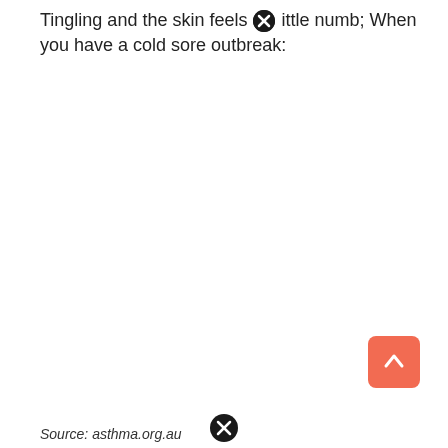Tingling and the skin feels a little numb; When you have a cold sore outbreak:
Source: asthma.org.au